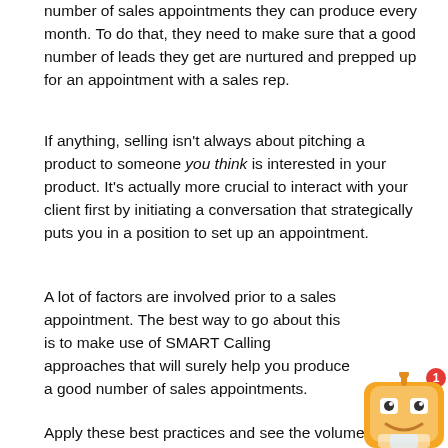number of sales appointments they can produce every month. To do that, they need to make sure that a good number of leads they get are nurtured and prepped up for an appointment with a sales rep.
If anything, selling isn't always about pitching a product to someone you think is interested in your product. It's actually more crucial to interact with your client first by initiating a conversation that strategically puts you in a position to set up an appointment.
A lot of factors are involved prior to a sales appointment. The best way to go about this is to make use of SMART Calling approaches that will surely help you produce a good number of sales appointments.
Apply these best practices and see the volume of